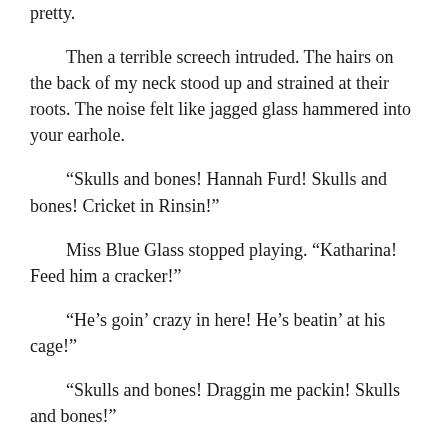pretty.
Then a terrible screech intruded. The hairs on the back of my neck stood up and strained at their roots. The noise felt like jagged glass hammered into your earhole.
“Skulls and bones! Hannah Furd! Skulls and bones! Cricket in Rinsin!”
Miss Blue Glass stopped playing. “Katharina! Feed him a cracker!”
“He’s goin’ crazy in here! He’s beatin’ at his cage!”
“Skulls and bones! Draggin me packin! Skulls and bones!”